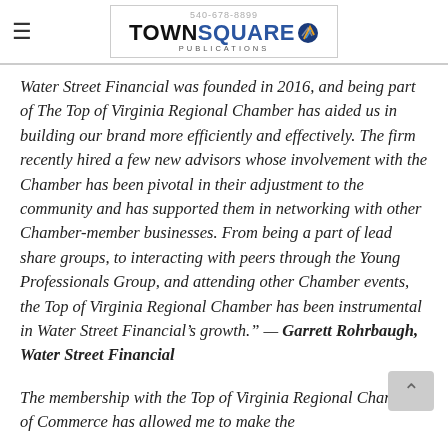540-678-8899 TOWNSQUARE PUBLICATIONS
Water Street Financial was founded in 2016, and being part of The Top of Virginia Regional Chamber has aided us in building our brand more efficiently and effectively. The firm recently hired a few new advisors whose involvement with the Chamber has been pivotal in their adjustment to the community and has supported them in networking with other Chamber-member businesses. From being a part of lead share groups, to interacting with peers through the Young Professionals Group, and attending other Chamber events, the Top of Virginia Regional Chamber has been instrumental in Water Street Financial’s growth.” — Garrett Rohrbaugh, Water Street Financial
The membership with the Top of Virginia Regional Chamber of Commerce has allowed me to make the